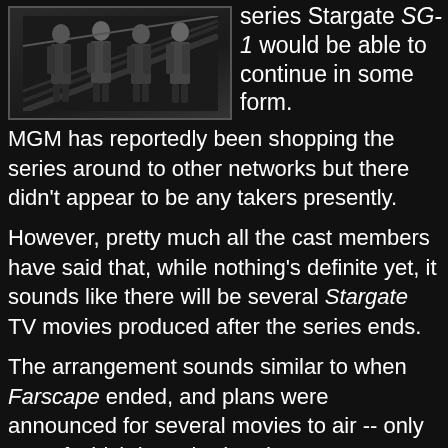[Figure (photo): Group photo of people in dark clothing, appears to be cast members on stairs or escalator]
series Stargate SG-1 would be able to continue in some form. MGM has reportedly been shopping the series around to other networks but there didn't appear to be any takers presently.
However, pretty much all the cast members have said that, while nothing's definite yet, it sounds like there will be several Stargate TV movies produced after the series ends.
The arrangement sounds similar to when Farscape ended, and plans were announced for several movies to air -- only one of which has aired to date, 2004's Farscape: Peacekeeper Wars. Let's hope SG-1 fares better.
Major General Creedon at 20:55    2 comments:
Share
Wednesday, October 04, 2006